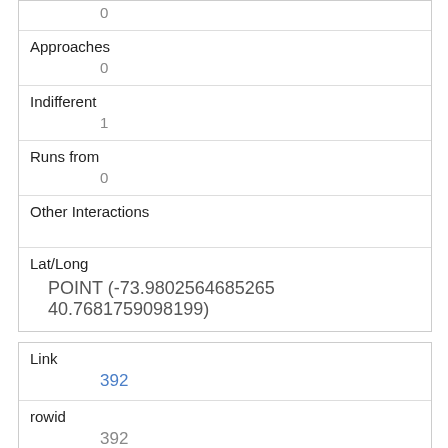|  | 0 |
| Approaches | 0 |
| Indifferent | 1 |
| Runs from | 0 |
| Other Interactions |  |
| Lat/Long | POINT (-73.9802564685265 40.7681759098199) |
| Link | 392 |
| rowid | 392 |
| longitude | -73.98023761310341 |
| latitude | 40.7680707516627050 |